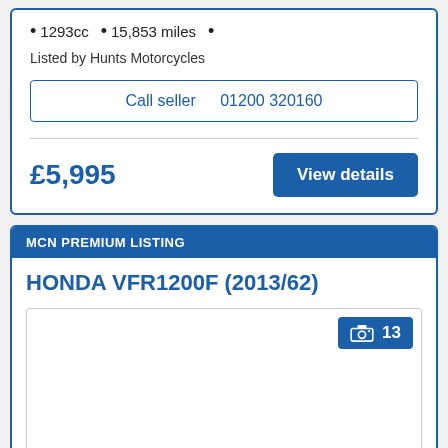1293cc  •  15,853 miles  •
Listed by Hunts Motorcycles
Call seller   01200 320160
£5,995
View details
MCN PREMIUM LISTING
HONDA VFR1200F (2013/62)
[Figure (photo): Motorcycle listing photo area with camera icon badge showing 13 photos]